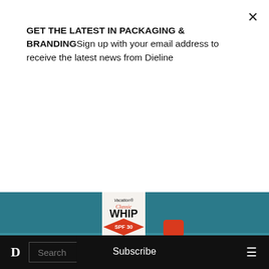GET THE LATEST IN PACKAGING & BRANDINGSign up with your email address to receive the latest news from Dieline
Subscribe
[Figure (photo): Vacation Classic Whip SPF 30 sunscreen mousse can with red cap on a teal background]
BEAUTY & HEALTH PACKAGING
03/05/2022
D  Search  ≡